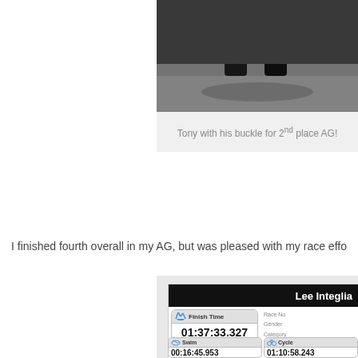[Figure (photo): Photo showing lower body/legs of a person wearing dark shorts, standing on pavement. Black and gray tones.]
Tony with his buckle for 2nd place AG!
I finished fourth overall in my AG, but was pleased with my race effo...
[Figure (screenshot): Race results screenshot for Lee Integlia showing Finish Time 01:37:33.327, Overall: 72/171, Gender: 16/57, Categ: 4/10, with fields for Race No, Gender, Category, Age, Status, City, State on the right. Swim time 00:16:45.953 and Cycle time 01:10:58.243 shown at bottom.]